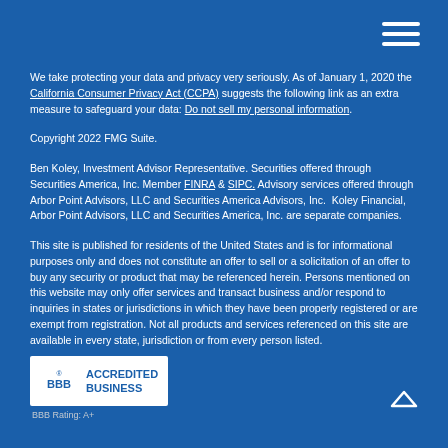[Figure (other): Hamburger menu icon (three horizontal white lines) in top right corner]
We take protecting your data and privacy very seriously. As of January 1, 2020 the California Consumer Privacy Act (CCPA) suggests the following link as an extra measure to safeguard your data: Do not sell my personal information.
Copyright 2022 FMG Suite.
Ben Koley, Investment Advisor Representative. Securities offered through Securities America, Inc. Member FINRA & SIPC. Advisory services offered through Arbor Point Advisors, LLC and Securities America Advisors, Inc. Koley Financial, Arbor Point Advisors, LLC and Securities America, Inc. are separate companies.
This site is published for residents of the United States and is for informational purposes only and does not constitute an offer to sell or a solicitation of an offer to buy any security or product that may be referenced herein. Persons mentioned on this website may only offer services and transact business and/or respond to inquiries in states or jurisdictions in which they have been properly registered or are exempt from registration. Not all products and services referenced on this site are available in every state, jurisdiction or from every person listed.
[Figure (logo): BBB Accredited Business logo with BBB Rating A+]
[Figure (other): Scroll-to-top up arrow chevron icon in bottom right corner]